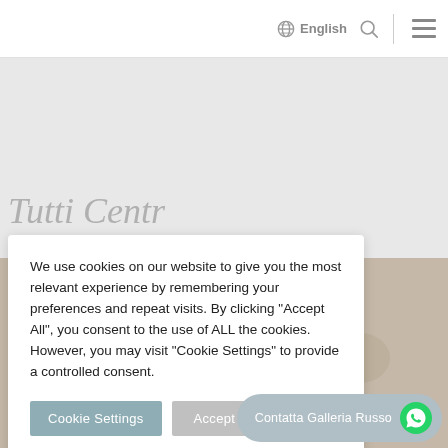English
[Figure (screenshot): Website screenshot with navigation bar showing English language selector, search icon, and hamburger menu. Background shows a light grey content area with partial italic serif title text and a photo of musical instruments below.]
We use cookies on our website to give you the most relevant experience by remembering your preferences and repeat visits. By clicking “Accept All”, you consent to the use of ALL the cookies. However, you may visit “Cookie Settings” to provide a controlled consent.
Cookie Settings
Accept All
Contatta Galleria Russo